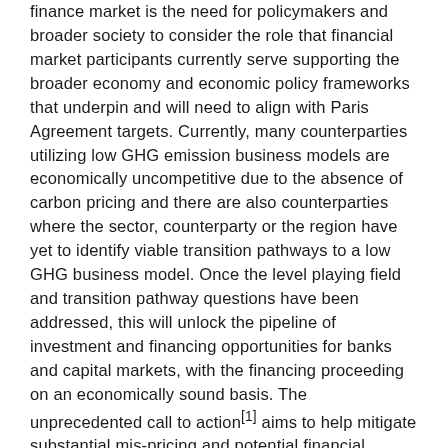finance market is the need for policymakers and broader society to consider the role that financial market participants currently serve supporting the broader economy and economic policy frameworks that underpin and will need to align with Paris Agreement targets. Currently, many counterparties utilizing low GHG emission business models are economically uncompetitive due to the absence of carbon pricing and there are also counterparties where the sector, counterparty or the region have yet to identify viable transition pathways to a low GHG business model. Once the level playing field and transition pathway questions have been addressed, this will unlock the pipeline of investment and financing opportunities for banks and capital markets, with the financing proceeding on an economically sound basis. The unprecedented call to action[1] aims to help mitigate substantial mis-pricing and potential financial stability risks which would undermine the long-run ability of the financial system to direct finance to fully support the Paris-aligned transition.